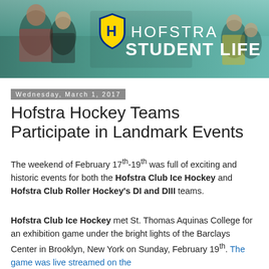[Figure (photo): Hofstra Student Life banner with students in background and Hofstra shield logo]
Wednesday, March 1, 2017
Hofstra Hockey Teams Participate in Landmark Events
The weekend of February 17th-19th was full of exciting and historic events for both the Hofstra Club Ice Hockey and Hofstra Club Roller Hockey's DI and DIII teams.
Hofstra Club Ice Hockey met St. Thomas Aquinas College for an exhibition game under the bright lights of the Barclays Center in Brooklyn, New York on Sunday, February 19th. The game was live streamed on the